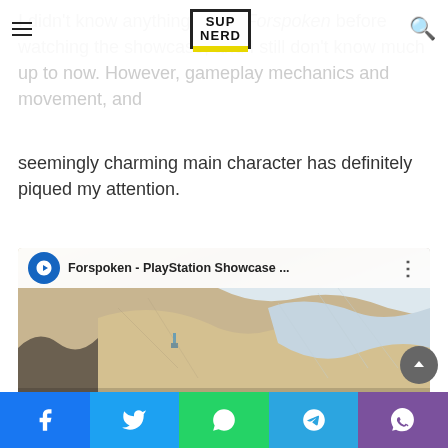SUP NERD (logo with hamburger menu and search icon)
I didn't know anything about Forspoken before watching the showcase, and I still don't know much up to now. However, gameplay mechanics and movement, and seemingly charming main character has definitely piqued my attention.
[Figure (screenshot): Embedded YouTube video thumbnail for 'Forspoken - PlayStation Showcase ...' with PlayStation logo circle icon, video title bar, and a game scene showing a landscape with sandy and icy terrain.]
Share bar: Facebook, Twitter, WhatsApp, Telegram, Viber